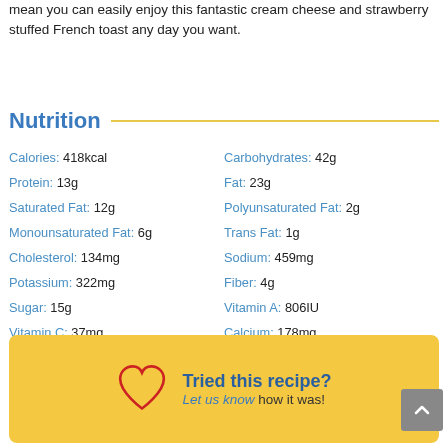mean you can easily enjoy this fantastic cream cheese and strawberry stuffed French toast any day you want.
Nutrition
Calories: 418kcal
Carbohydrates: 42g
Protein: 13g
Fat: 23g
Saturated Fat: 12g
Polyunsaturated Fat: 2g
Monounsaturated Fat: 6g
Trans Fat: 1g
Cholesterol: 134mg
Sodium: 459mg
Potassium: 322mg
Fiber: 4g
Sugar: 15g
Vitamin A: 806IU
Vitamin C: 37mg
Calcium: 178mg
Iron: 3mg
Tried this recipe? Let us know how it was!